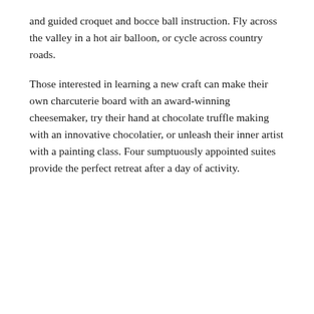and guided croquet and bocce ball instruction. Fly across the valley in a hot air balloon, or cycle across country roads.
Those interested in learning a new craft can make their own charcuterie board with an award-winning cheesemaker, try their hand at chocolate truffle making with an innovative chocolatier, or unleash their inner artist with a painting class. Four sumptuously appointed suites provide the perfect retreat after a day of activity.